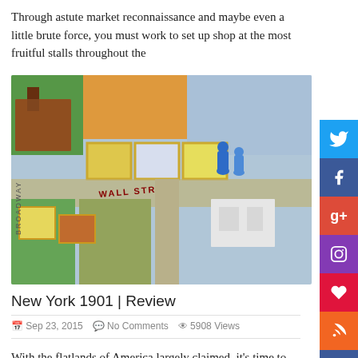Through astute market reconnaissance and maybe even a little brute force, you must work to set up shop at the most fruitful stalls throughout the
[Figure (photo): Close-up photo of a New York 1901 board game showing a colorful city board with building tiles, street labels including Wall Street, and blue player figurines.]
New York 1901 | Review
Sep 23, 2015  No Comments  5908 Views
With the flatlands of America largely claimed, it's time to rethink how to live in this world. Up we'll go, in structures